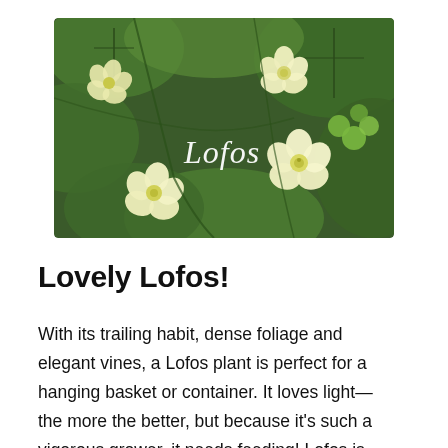[Figure (photo): Close-up photo of pale yellow Lofos flowers with green foliage and vines. The word 'Lofos' is written in white script overlaid on the image.]
Lovely Lofos!
With its trailing habit, dense foliage and elegant vines, a Lofos plant is perfect for a hanging basket or container. It loves light—the more the better, but because it's such a vigorous grower, it needs feeding! Lofos is just one of many varieties of